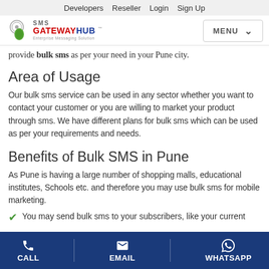Developers  Reseller  Login  Sign Up
[Figure (logo): SMS Gateway Hub logo with icon and tagline]
provide bulk sms as per your need in your Pune city.
Area of Usage
Our bulk sms service can be used in any sector whether you want to contact your customer or you are willing to market your product through sms. We have different plans for bulk sms which can be used as per your requirements and needs.
Benefits of Bulk SMS in Pune
As Pune is having a large number of shopping malls, educational institutes, Schools etc. and therefore you may use bulk sms for mobile marketing.
You may send bulk sms to your subscribers, like your current
CALL  EMAIL  WHATSAPP